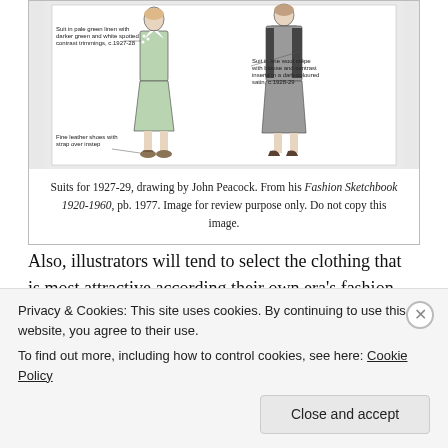[Figure (illustration): Fashion illustration showing suits for 1927-29, drawing by John Peacock. Two female figures in suits are depicted with annotation labels describing garment details.]
Suits for 1927-29, drawing by John Peacock. From his Fashion Sketchbook 1920-1960, pb. 1977. Image for review purpose only. Do not copy this image.
Also, illustrators will tend to select the clothing that is most attractive according their own era's fashion ideal.
Beware of Using Only Secondary Sources!
Anne Hollander has written a big, fascinating
Privacy & Cookies: This site uses cookies. By continuing to use this website, you agree to their use.
To find out more, including how to control cookies, see here: Cookie Policy